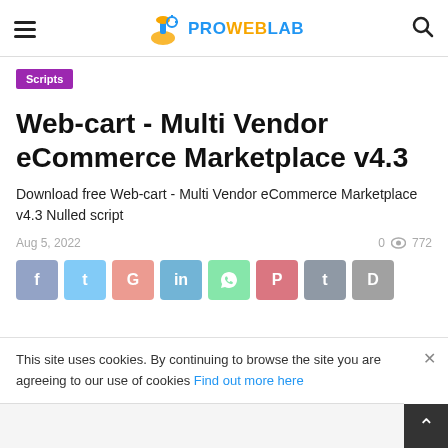PROWEBLAB
Scripts
Web-cart - Multi Vendor eCommerce Marketplace v4.3
Download free Web-cart - Multi Vendor eCommerce Marketplace v4.3 Nulled script
Aug 5, 2022   0  772
[Figure (other): Social share buttons: Facebook, Twitter, Google+, LinkedIn, WhatsApp, Pinterest, Tumblr, Download]
This site uses cookies. By continuing to browse the site you are agreeing to our use of cookies Find out more here